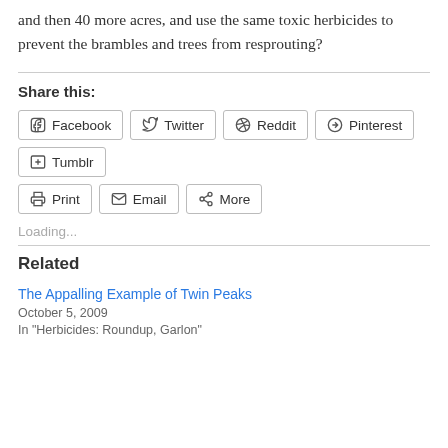and then 40 more acres, and use the same toxic herbicides to prevent the brambles and trees from resprouting?
Share this:
Facebook | Twitter | Reddit | Pinterest | Tumblr | Print | Email | More
Loading...
Related
The Appalling Example of Twin Peaks
October 5, 2009
In "Herbicides: Roundup, Garlon"